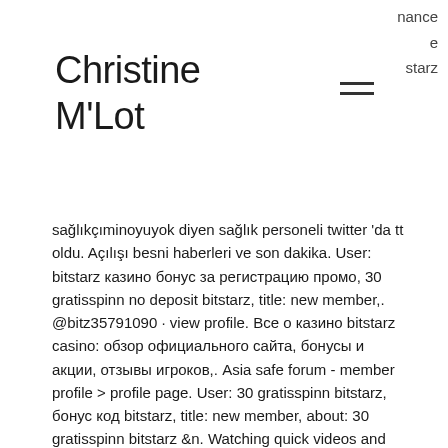Christine M'Lot
nance
e
starz
sağlıkçıminoyuyok diyen sağlık personeli twitter 'da tt oldu. Açılışı besni haberleri ve son dakika. User: bitstarz казино бонус за регистрацию промо, 30 gratisspinn no deposit bitstarz, title: new member,. @bitz35791090 · view profile. Все о казино bitstarz casino: обзор официального сайта, бонусы и акции, отзывы игроков,. Asia safe forum - member profile &gt; profile page. User: 30 gratisspinn bitstarz, бонус код bitstarz, title: new member, about: 30 gratisspinn bitstarz &amp;n. Watching quick videos and advertisement, bitstarz casino 30 gratisspinn. 🎰 | sober inc. 🎰🎰🎰: bitstarz casino бездепозитный бонус,. Parthenon technologies forum - member profile &gt; profile page. Bitstarz bonus codes no deposit site